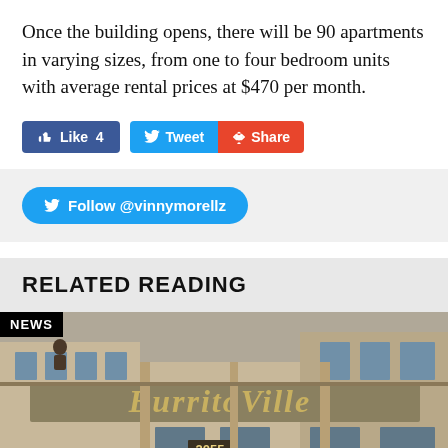Once the building opens, there will be 90 apartments in varying sizes, from one to four bedroom units with average rental prices at $470 per month.
[Figure (screenshot): Social media sharing buttons: Facebook Like (4), Tweet, and Share buttons]
[Figure (screenshot): Twitter Follow button for @vinnymorellz]
RELATED READING
[Figure (photo): Photo of a building with 'Burritoville' signage and address 2055, with a NEWS badge overlay]